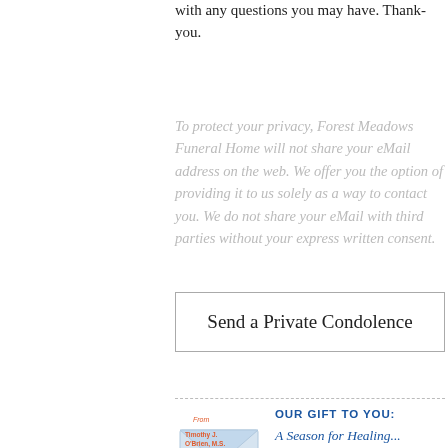with any questions you may have. Thank-you.
To protect your privacy, Forest Meadows Funeral Home will not share your eMail address on the web. We offer you the option of providing it to us solely as a way to contact you. We do not share your eMail with third parties without your express written consent.
Send a Private Condolence
OUR GIFT TO YOU: A Season for Healing... weekly messages of hope & support